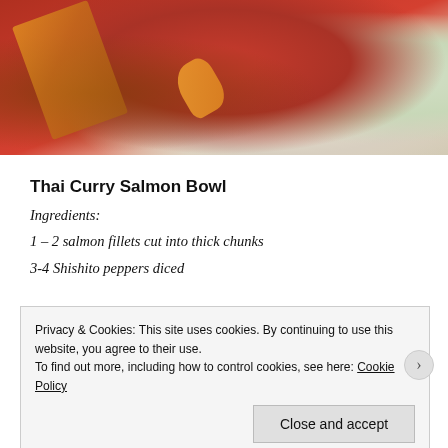[Figure (photo): Close-up photo of a Thai Curry Salmon Bowl with salmon, tomato sauce, vegetables, and rice on a plate]
Thai Curry Salmon Bowl
Ingredients:
1 – 2 salmon fillets cut into thick chunks
3-4 Shishito peppers diced
Privacy & Cookies: This site uses cookies. By continuing to use this website, you agree to their use.
To find out more, including how to control cookies, see here: Cookie Policy
Close and accept